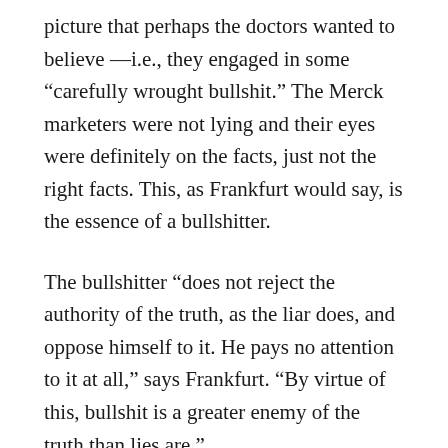picture that perhaps the doctors wanted to believe —i.e., they engaged in some “carefully wrought bullshit.” The Merck marketers were not lying and their eyes were definitely on the facts, just not the right facts. This, as Frankfurt would say, is the essence of a bullshitter.
The bullshitter “does not reject the authority of the truth, as the liar does, and oppose himself to it. He pays no attention to it at all,” says Frankfurt. “By virtue of this, bullshit is a greater enemy of the truth than lies are.”
Although bullshit, according to Frankfurt, is produced “without concern for the truth, it need not